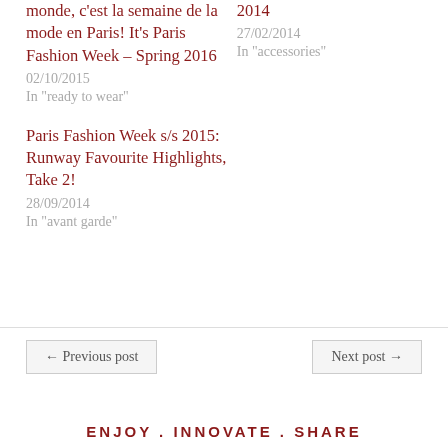monde, c'est la semaine de la mode en Paris! It's Paris Fashion Week – Spring 2016
02/10/2015
In "ready to wear"
2014
27/02/2014
In "accessories"
Paris Fashion Week s/s 2015: Runway Favourite Highlights, Take 2!
28/09/2014
In "avant garde"
← Previous post
Next post →
ENJOY . INNOVATE . SHARE